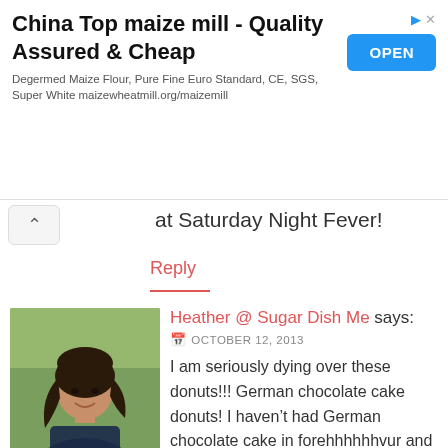[Figure (other): Advertisement banner: China Top maize mill - Quality Assured & Cheap. Degermed Maize Flour, Pure Fine Euro Standard, CE, SGS, Super White maizewheatmill.org/maizemill. Blue OPEN button on right.]
at Saturday Night Fever!
Reply
[Figure (photo): Profile photo of Heather, a woman with long dark hair, outdoors with green background.]
Heather @ Sugar Dish Me says:
OCTOBER 12, 2013
I am seriously dying over these donuts!!! German chocolate cake donuts! I haven't had German chocolate cake in forehhhhhhvur and this looks like the perfect way to get a fix.
Wanna know a secret though? I don't have